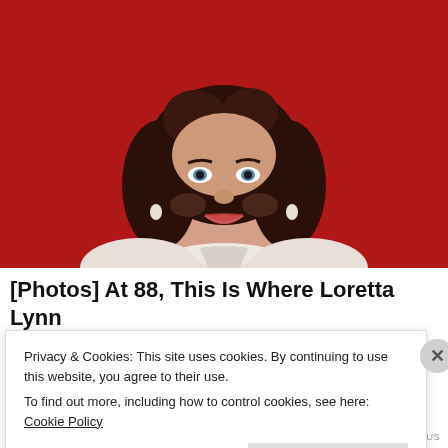[Figure (photo): Portrait photo of Loretta Lynn smiling, wearing a white ruffled blouse, with curly dark brown hair, against a red background.]
[Photos] At 88, This Is Where Loretta Lynn
Privacy & Cookies: This site uses cookies. By continuing to use this website, you agree to their use.
To find out more, including how to control cookies, see here: Cookie Policy
Close and accept